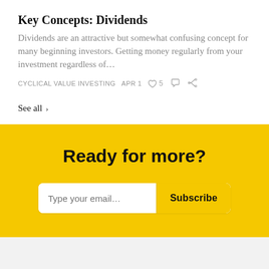Key Concepts: Dividends
Dividends are an attractive but somewhat confusing concept for many beginning investors. Getting money regularly from your investment regardless of…
CYCLICAL VALUE INVESTING   APR 1   ♡ 5   💬   ↗
See all ›
Ready for more?
Type your email… Subscribe